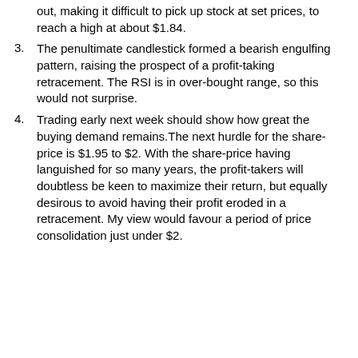out, making it difficult to pick up stock at set prices, to reach a high at about $1.84.
3. The penultimate candlestick formed a bearish engulfing pattern, raising the prospect of a profit-taking retracement. The RSI is in over-bought range, so this would not surprise.
4. Trading early next week should show how great the buying demand remains.The next hurdle for the share-price is $1.95 to $2. With the share-price having languished for so many years, the profit-takers will doubtless be keen to maximize their return, but equally desirous to avoid having their profit eroded in a retracement. My view would favour a period of price consolidation just under $2.